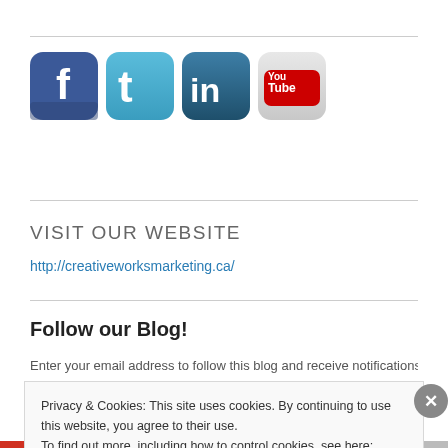[Figure (illustration): Four social media icons: Facebook (blue rounded square with white 'f'), Twitter (teal rounded square with white bird), LinkedIn (dark teal rounded square with white 'in'), YouTube (silver rounded rectangle with 'You Tube' text and red logo)]
VISIT OUR WEBSITE
http://creativeworksmarketing.ca/
Follow our Blog!
Enter your email address to follow this blog and receive notifications of
Privacy & Cookies: This site uses cookies. By continuing to use this website, you agree to their use.
To find out more, including how to control cookies, see here: Cookie Policy
Close and accept